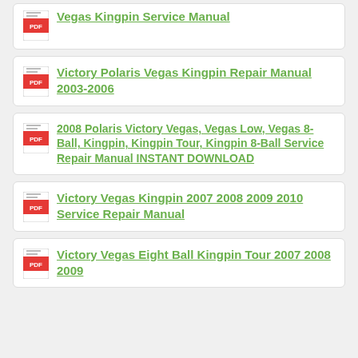Vegas Kingpin Service Manual
Victory Polaris Vegas Kingpin Repair Manual 2003-2006
2008 Polaris Victory Vegas, Vegas Low, Vegas 8-Ball, Kingpin, Kingpin Tour, Kingpin 8-Ball Service Repair Manual INSTANT DOWNLOAD
Victory Vegas Kingpin 2007 2008 2009 2010 Service Repair Manual
Victory Vegas Eight Ball Kingpin Tour 2007 2008 2009